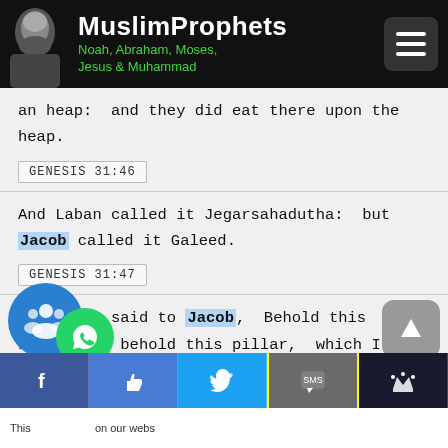MuslimProphets — Noah, Abraham, Moses, Jesus & Muhammad
an heap: and they did eat there upon the heap.
GENESIS 31:46
And Laban called it Jegarsahadutha: but Jacob called it Galeed.
GENESIS 31:47
And Laban said to Jacob, Behold this heap, and behold this pillar, which I have cast betwixt me and thee:
GENESIS 31:51
...d of Abraham, and the God of
This ... on our webs...